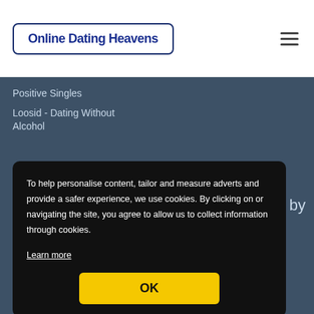[Figure (logo): Online Dating Heavens logo in a rounded rectangle border]
Positive Singles
Loosid - Dating Without Alcohol
To help personalise content, tailor and measure adverts and provide a safer experience, we use cookies. By clicking on or navigating the site, you agree to allow us to collect information through cookies.
Learn more
OK